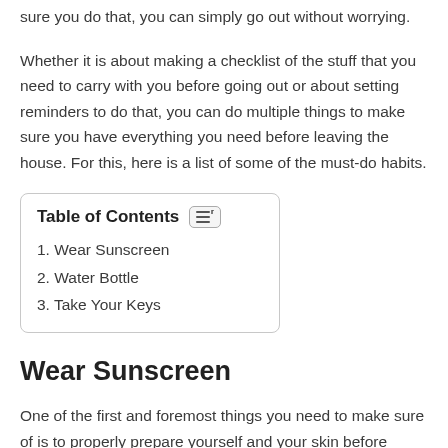sure you do that, you can simply go out without worrying.
Whether it is about making a checklist of the stuff that you need to carry with you before going out or about setting reminders to do that, you can do multiple things to make sure you have everything you need before leaving the house. For this, here is a list of some of the must-do habits.
| 1. Wear Sunscreen |
| 2. Water Bottle |
| 3. Take Your Keys |
Wear Sunscreen
One of the first and foremost things you need to make sure of is to properly prepare yourself and your skin before